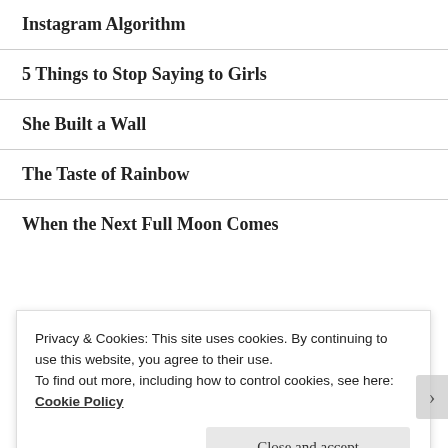Instagram Algorithm
5 Things to Stop Saying to Girls
She Built a Wall
The Taste of Rainbow
When the Next Full Moon Comes
[Figure (logo): Badge graphic with text 'Proud member of' and decorative stars on a black shield/arch shape]
Privacy & Cookies: This site uses cookies. By continuing to use this website, you agree to their use.
To find out more, including how to control cookies, see here: Cookie Policy
Close and accept